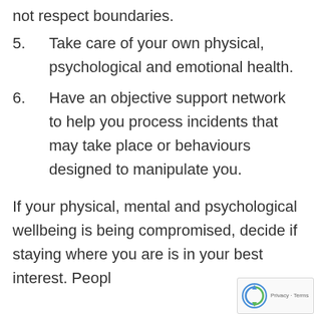not respect boundaries.
5. Take care of your own physical, psychological and emotional health.
6. Have an objective support network to help you process incidents that may take place or behaviours designed to manipulate you.
If your physical, mental and psychological wellbeing is being compromised, decide if staying where you are is in your best interest. People